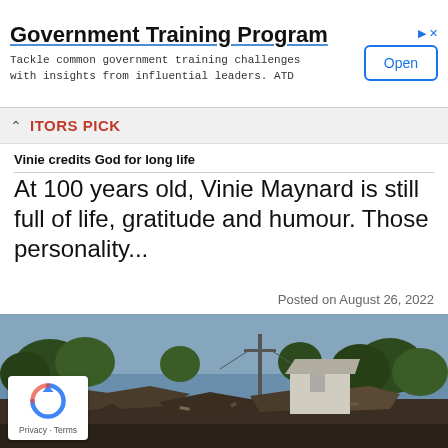[Figure (other): Advertisement banner: Government Training Program — Tackle common government training challenges with insights from influential leaders. ATD — with Open button]
EDITORS PICK
Vinie credits God for long life
At 100 years old, Vinie Maynard is still full of life, gratitude and humour. Those personality...
Posted on August 26, 2022
[Figure (photo): Photograph of war-damaged buildings and rubble with trees in background under a grey-blue sky]